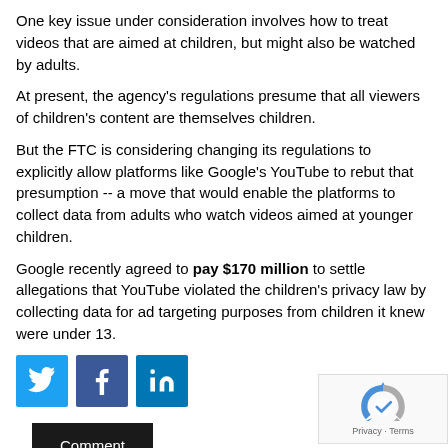One key issue under consideration involves how to treat videos that are aimed at children, but might also be watched by adults.
At present, the agency's regulations presume that all viewers of children's content are themselves children.
But the FTC is considering changing its regulations to explicitly allow platforms like Google's YouTube to rebut that presumption -- a move that would enable the platforms to collect data from adults who watch videos aimed at younger children.
Google recently agreed to pay $170 million to settle allegations that YouTube violated the children's privacy law by collecting data for ad targeting purposes from children it knew were under 13.
[Figure (infographic): Social media share buttons: Twitter (blue bird icon), Facebook (blue f icon), LinkedIn (blue in icon)]
[Figure (infographic): Comment button (dark/black background with white text)]
[Figure (infographic): reCAPTCHA logo with Privacy - Terms text]